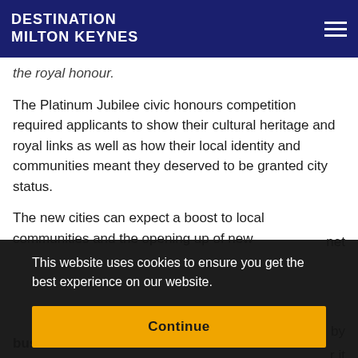DESTINATION MILTON KEYNES
the royal honour.
The Platinum Jubilee civic honours competition required applicants to show their cultural heritage and royal links as well as how their local identity and communities meant they deserved to be granted city status.
The new cities can expect a boost to local communities and the opening up of new
This website uses cookies to ensure you get the best experience on our website.
Continue
d by r it do business.